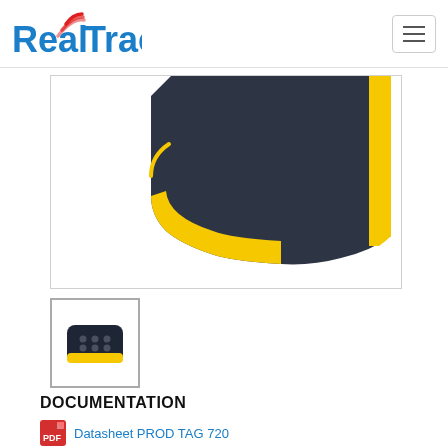RealTrac
[Figure (photo): Close-up of a RealTrac TAG 720 device showing its black and yellow casing, cropped view of the bottom-left corner of the device]
[Figure (photo): Thumbnail image of the RealTrac TAG 720 device, showing the full device which is small black with yellow trim and buttons on top]
DOCUMENTATION
Datasheet PROD TAG 720